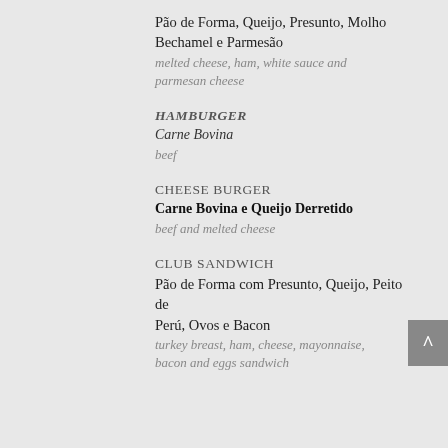Pão de Forma, Queijo, Presunto, Molho Bechamel e Parmesão
melted cheese, ham, white sauce and parmesan cheese
HAMBURGER
Carne Bovina
beef
CHEESE BURGER
Carne Bovina e Queijo Derretido
beef and melted cheese
CLUB SANDWICH
Pão de Forma com Presunto, Queijo, Peito de Perú, Ovos e Bacon
turkey breast, ham, cheese, mayonnaise, bacon and eggs sandwich